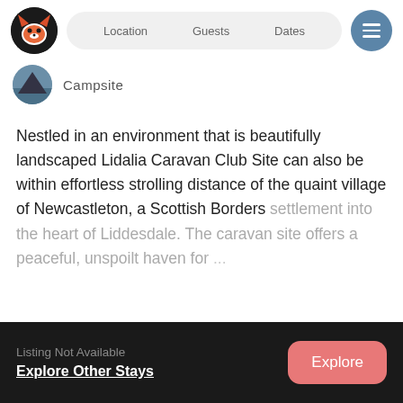Location   Guests   Dates
Campsite
Nestled in an environment that is beautifully landscaped Lidalia Caravan Club Site can also be within effortless strolling distance of the quaint village of Newcastleton, a Scottish Borders settlement into the heart of Liddesdale. The caravan site offers a peaceful, unspoilt haven for
Read More >
Listing Not Available
Explore Other Stays
Explore